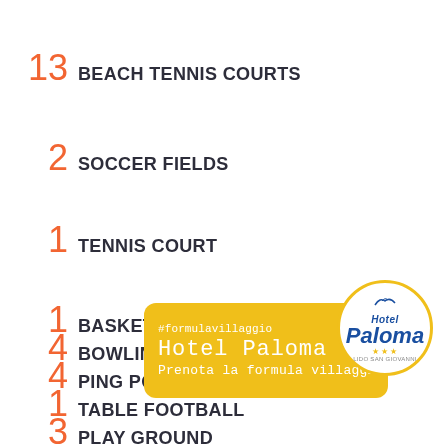13 BEACH TENNIS COURTS
2 SOCCER FIELDS
1 TENNIS COURT
1 BASKETBALL COURT
4 BOWLING GREEN
4 PING PONG TABLES
1 TABLE FOOTBALL
3 PLAY GROUND
[Figure (logo): Hotel Paloma logo: circular badge with yellow border, Hotel Paloma text in blue italic font with stars, and a yellow rounded rectangle overlay badge with #formulavillaggio, Hotel Paloma, Prenota la formula villaggio text in white monospace font]